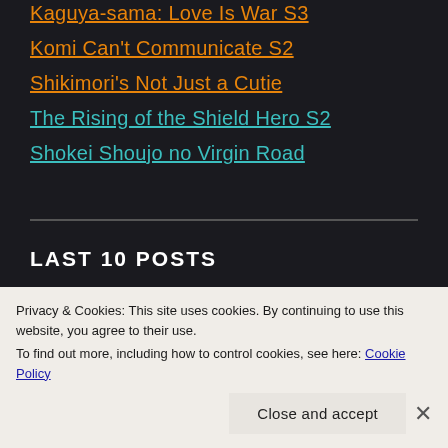Kaguya-sama: Love Is War S3
Komi Can't Communicate S2
Shikimori's Not Just a Cutie
The Rising of the Shield Hero S2
Shokei Shoujo no Virgin Road
LAST 10 POSTS
Overlord IV – 09 – Baking a Softer Biscuit
Privacy & Cookies: This site uses cookies. By continuing to use this website, you agree to their use.
To find out more, including how to control cookies, see here: Cookie Policy
Close and accept